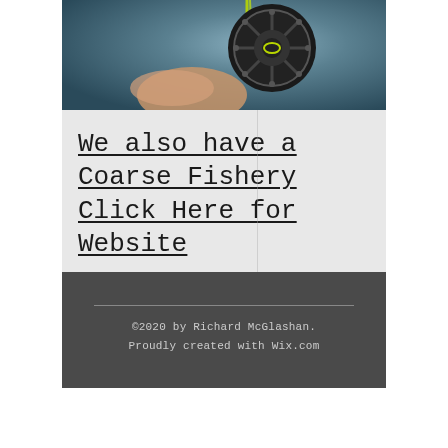[Figure (photo): Close-up photo of a black fishing reel with green/yellow fishing line, held by a hand against a blurred grey-blue background]
We also have a Coarse Fishery Click Here for Website
©2020 by Richard McGlashan. Proudly created with Wix.com